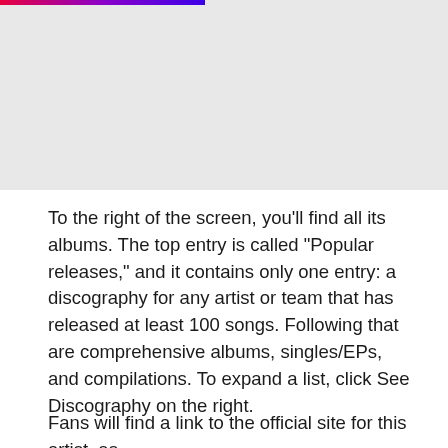[Figure (screenshot): Gray placeholder image block with a gradient bar (pink to purple to blue) across the top portion]
To the right of the screen, you'll find all its albums. The top entry is called “Popular releases,” and it contains only one entry: a discography for any artist or team that has released at least 100 songs. Following that are comprehensive albums, singles/EPs, and compilations. To expand a list, click See Discography on the right.
Fans will find a link to the official site for this artist, as